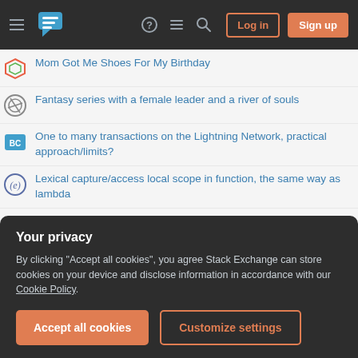Stack Exchange navigation bar with hamburger menu, logo, help, chat, search icons, Log in and Sign up buttons
Mom Got Me Shoes For My Birthday
Fantasy series with a female leader and a river of souls
One to many transactions on the Lightning Network, practical approach/limits?
Lexical capture/access local scope in function, the same way as lambda
Looking for a putty to patch door which dries stiff
The number of polynomials on a finite group, II
Multiple entry Short term Schengen visa valid for 5 days
What is this tag/label on Jacobs coffee lid?
Your privacy
By clicking "Accept all cookies", you agree Stack Exchange can store cookies on your device and disclose information in accordance with our Cookie Policy.
Can you sue your own business?